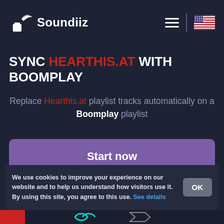[Figure (logo): Soundiiz logo with bird/wings icon and text 'Soundiiz' in white, plus hamburger menu icon, vertical divider, and US flag icon in the header navigation bar]
SYNC HEARTHIS.AT WITH BOOMPLAY
Replace Hearthis.at playlist tracks automatically on a Boomplay playlist
Start now
We use cookies to improve your experience on our website and to help us understand how visitors use it. By using this site, you agree to this use. See details